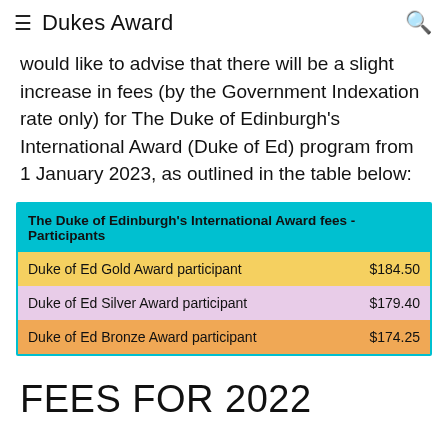Dukes Award
would like to advise that there will be a slight increase in fees (by the Government Indexation rate only) for The Duke of Edinburgh's International Award (Duke of Ed) program from 1 January 2023, as outlined in the table below:
| The Duke of Edinburgh's International Award fees - Participants |  |
| --- | --- |
| Duke of Ed Gold Award participant | $184.50 |
| Duke of Ed Silver Award participant | $179.40 |
| Duke of Ed Bronze Award participant | $174.25 |
FEES FOR 2022